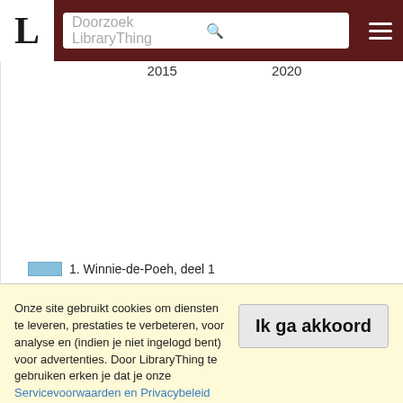[Figure (screenshot): LibraryThing website header with logo 'L' in white box, search bar with placeholder 'Doorzoek LibraryThing', and hamburger menu icon on dark red background]
[Figure (continuous-plot): Line chart area mostly blank/white, showing partial view of a time series chart with x-axis labels 2015 and 2020. Legend shows blue swatch labeled '1. Winnie-de-Poeh, deel 1']
Onze site gebruikt cookies om diensten te leveren, prestaties te verbeteren, voor analyse en (indien je niet ingelogd bent) voor advertenties. Door LibraryThing te gebruiken erken je dat je onze Servicevoorwaarden en Privacybeleid gelezen en begrepen hebt. Je gebruik van de site en diensten is onderhevig aan dit beleid en deze voorwaarden.
Ik ga akkoord